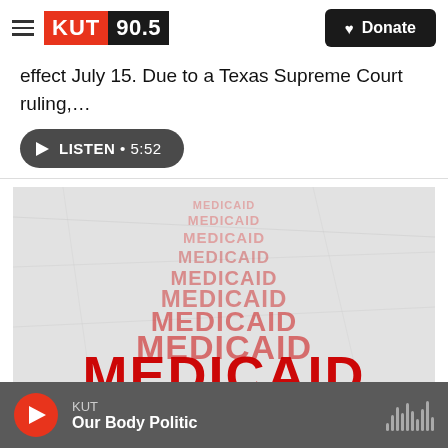KUT 90.5 | Donate
effect July 15. Due to a Texas Supreme Court ruling,...
LISTEN • 5:52
[Figure (photo): Medicaid word art image showing the word MEDICAID repeated in red text of various sizes on a crumpled white paper background, with large bold red MEDICAID text at the bottom.]
KUT | Our Body Politic